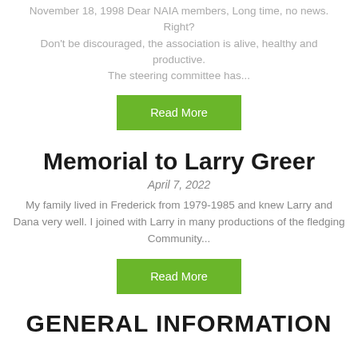November 18, 1998 Dear NAIA members, Long time, no news. Right? Don't be discouraged, the association is alive, healthy and productive. The steering committee has...
Read More
Memorial to Larry Greer
April 7, 2022
My family lived in Frederick from 1979-1985 and knew Larry and Dana very well. I joined with Larry in many productions of the fledging Community...
Read More
GENERAL INFORMATION